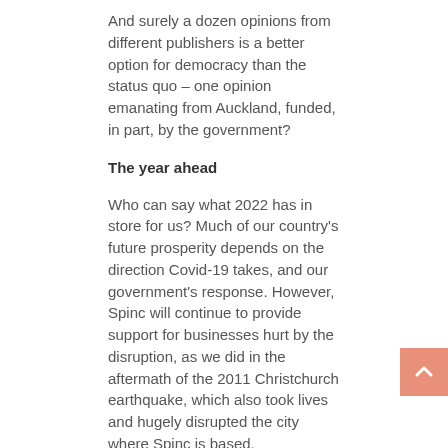And surely a dozen opinions from different publishers is a better option for democracy than the status quo – one opinion emanating from Auckland, funded, in part, by the government?
The year ahead
Who can say what 2022 has in store for us? Much of our country's future prosperity depends on the direction Covid-19 takes, and our government's response. However, Spinc will continue to provide support for businesses hurt by the disruption, as we did in the aftermath of the 2011 Christchurch earthquake, which also took lives and hugely disrupted the city where Spinc is based.
To all our clients – and future clients – we wish you a safe and prosperous new year.
Paul Taggart
CEO